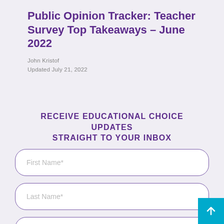Public Opinion Tracker: Teacher Survey Top Takeaways – June 2022
John Kristof
Updated July 21, 2022
RECEIVE EDUCATIONAL CHOICE UPDATES STRAIGHT TO YOUR INBOX
[Figure (other): Web form with three input fields: First Name*, Last Name*, and Email*, each with rounded rectangle borders and placeholder text. A teal scroll-to-top button appears in the bottom-right corner.]